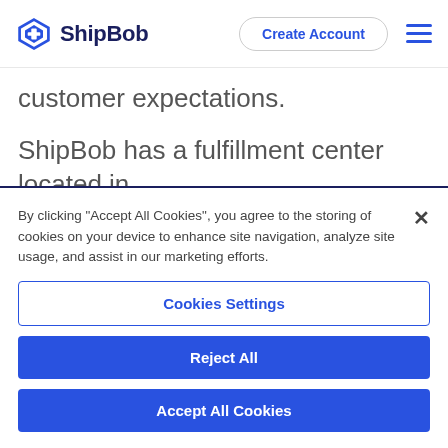ShipBob | Create Account
customer expectations.
ShipBob has a fulfillment center located in mainland Europe (in Poland), so you can reach
By clicking “Accept All Cookies”, you agree to the storing of cookies on your device to enhance site navigation, analyze site usage, and assist in our marketing efforts.
Cookies Settings
Reject All
Accept All Cookies